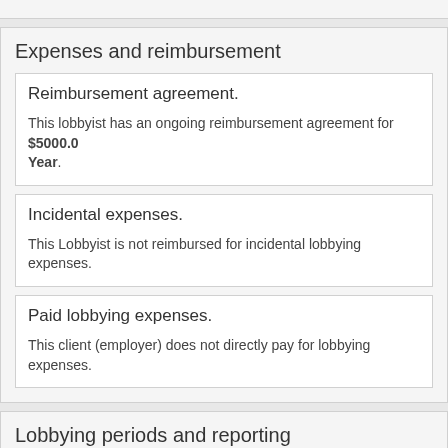Expenses and reimbursement
Reimbursement agreement.
This lobbyist has an ongoing reimbursement agreement for $5000.00 Per Year.
Incidental expenses.
This Lobbyist is not reimbursed for incidental lobbying expenses.
Paid lobbying expenses.
This client (employer) does not directly pay for lobbying expenses.
Lobbying periods and reporting